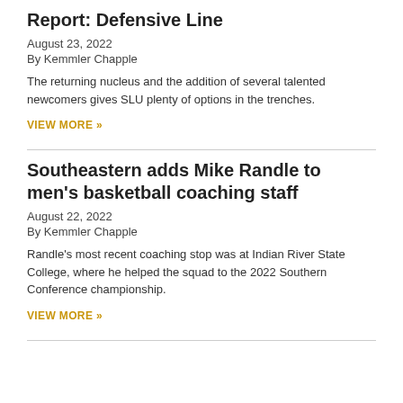Report: Defensive Line
August 23, 2022
By Kemmler Chapple
The returning nucleus and the addition of several talented newcomers gives SLU plenty of options in the trenches.
VIEW MORE »
Southeastern adds Mike Randle to men's basketball coaching staff
August 22, 2022
By Kemmler Chapple
Randle's most recent coaching stop was at Indian River State College, where he helped the squad to the 2022 Southern Conference championship.
VIEW MORE »